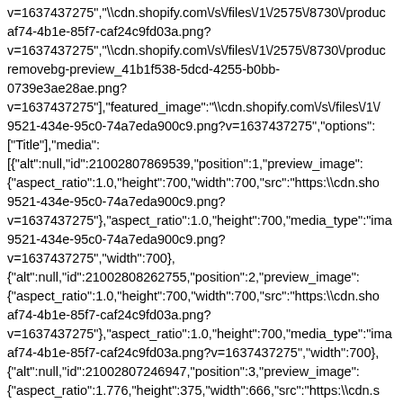v=1637437275","\\cdn.shopify.com\/s\/files\/1\/2575\/8730\/produc af74-4b1e-85f7-caf24c9fd03a.png?v=1637437275","\\cdn.shopify.com\/s\/files\/1\/2575\/8730\/produc removebg-preview_41b1f538-5dcd-4255-b0bb-0739e3ae28ae.png?v=1637437275"],"featured_image":"\\cdn.shopify.com\/s\/files\/1\/ 9521-434e-95c0-74a7eda900c9.png?v=1637437275","options":["Title"],"media":[{"alt":null,"id":21002807869539,"position":1,"preview_image":{"aspect_ratio":1.0,"height":700,"width":700,"src":"https:\\cdn.sho 9521-434e-95c0-74a7eda900c9.png?v=1637437275"},"aspect_ratio":1.0,"height":700,"media_type":"ima 9521-434e-95c0-74a7eda900c9.png?v=1637437275","width":700},{"alt":null,"id":21002808262755,"position":2,"preview_image":{"aspect_ratio":1.0,"height":700,"width":700,"src":"https:\\cdn.sho af74-4b1e-85f7-caf24c9fd03a.png?v=1637437275"},"aspect_ratio":1.0,"height":700,"media_type":"ima af74-4b1e-85f7-caf24c9fd03a.png?v=1637437275","width":700},{"alt":null,"id":21002807246947,"position":3,"preview_image":{"aspect_ratio":1.776,"height":375,"width":666,"src":"https:\\cdn.s removebg-preview_41b1f538-5dcd-4255-b0bb-0739e3ae28ae.png?v=1637437275"},"aspect_ratio":1.776,"height":375,"media_type":"i removebg-preview_41b1f538-5dcd-4255-b0bb-